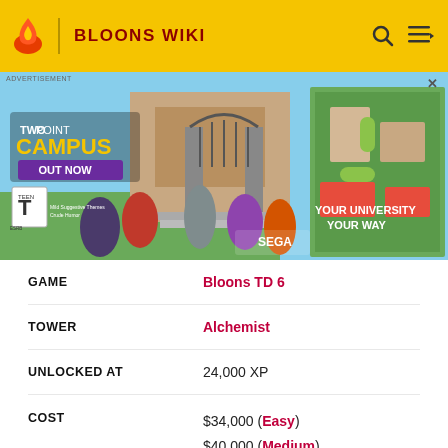BLOONS WIKI
[Figure (illustration): Advertisement banner for Two Point Campus game showing colorful characters in front of a university building, with text 'TWO POINT CAMPUS OUT NOW' and 'YOUR UNIVERSITY YOUR WAY', SEGA logo, TEEN ESRB rating]
| Field | Value |
| --- | --- |
| GAME | Bloons TD 6 |
| TOWER | Alchemist |
| UNLOCKED AT | 24,000 XP |
| COST | $34,000 (Easy)
$40,000 (Medium)
$43,200 (Hard)
$48,000 (Impoppable) |